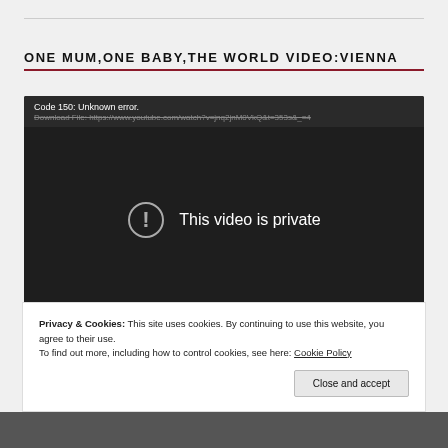ONE MUM,ONE BABY,THE WORLD VIDEO:VIENNA
[Figure (screenshot): Embedded YouTube video player showing an error: 'Code 150: Unknown error.' with a download link, and center message 'This video is private' with an exclamation icon. YouTube play button visible at bottom right.]
Privacy & Cookies: This site uses cookies. By continuing to use this website, you agree to their use.
To find out more, including how to control cookies, see here: Cookie Policy
Close and accept